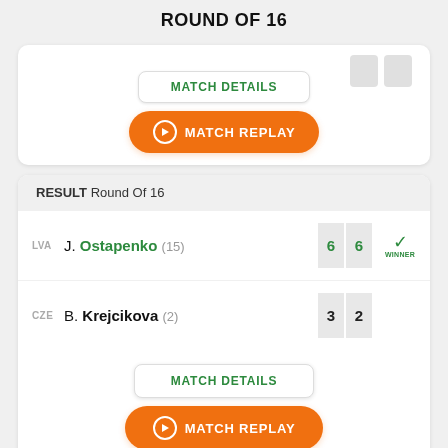ROUND OF 16
[Figure (screenshot): Partial match card showing MATCH DETAILS button and MATCH REPLAY button]
|  | Player | Set 1 | Set 2 |  |
| --- | --- | --- | --- | --- |
| LVA | J. Ostapenko (15) | 6 | 6 | WINNER |
| CZE | B. Krejcikova (2) | 3 | 2 |  |
RESULT Round Of 16
MATCH DETAILS
MATCH REPLAY